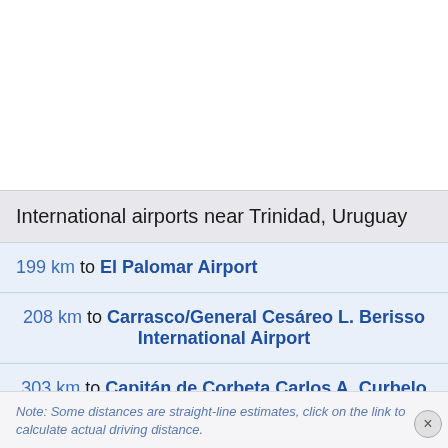International airports near Trinidad, Uruguay
199 km to El Palomar Airport
208 km to Carrasco/General Cesáreo L. Berisso International Airport
303 km to Capitán de Corbeta Carlos A. Curbelo International Airport
Note: Some distances are straight-line estimates, click on the link to calculate actual driving distance.